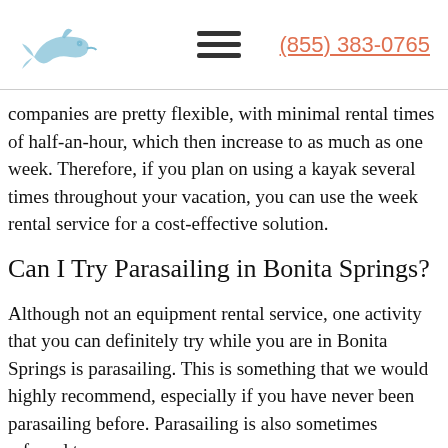[Figure (logo): Dolphin logo icon in light blue/gray]
(855) 383-0765
companies are pretty flexible, with minimal rental times of half-an-hour, which then increase to as much as one week. Therefore, if you plan on using a kayak several times throughout your vacation, you can use the week rental service for a cost-effective solution.
Can I Try Parasailing in Bonita Springs?
Although not an equipment rental service, one activity that you can definitely try while you are in Bonita Springs is parasailing. This is something that we would highly recommend, especially if you have never been parasailing before. Parasailing is also sometimes referred to as